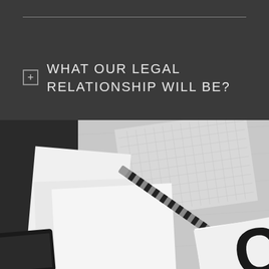WHAT OUR LEGAL RELATIONSHIP WILL BE?
[Figure (photo): Black and white overhead photo of a striped pen, papers/notepad, and a tablet on a desk surface, with partial view of a letter 'C' on a booklet in the bottom right corner]